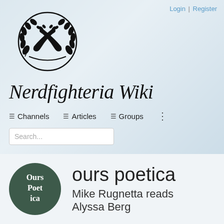Login | Register
[Figure (logo): Nerdfighteria circular emblem with crossed arms/hands and laurel wreath]
Nerdfighteria Wiki
≡ Channels  ≡ Articles  ≡ Groups  ⋮
Search...
[Figure (logo): Ours Poetica circular dark green logo with text 'Ours Poet ica']
ours poetica
Mike Rugnetta reads Alyssa Berg